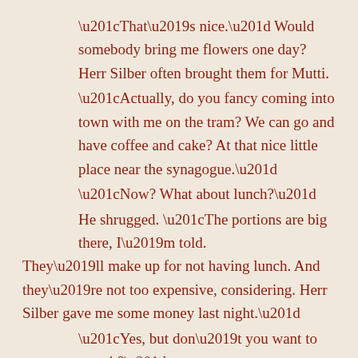“That’s nice.” Would somebody bring me flowers one day? Herr Silber often brought them for Mutti.
“Actually, do you fancy coming into town with me on the tram? We can go and have coffee and cake? At that nice little place near the synagogue.”
“Now? What about lunch?”
He shrugged. “The portions are big there, I’m told. They’ll make up for not having lunch. And they’re not too expensive, considering. Herr Silber gave me some money last night.”
“Yes, but don’t you want to save it?”
“Helga and her mother are going there this afternoon.”
“So wouldn’t you rather go on your own?”